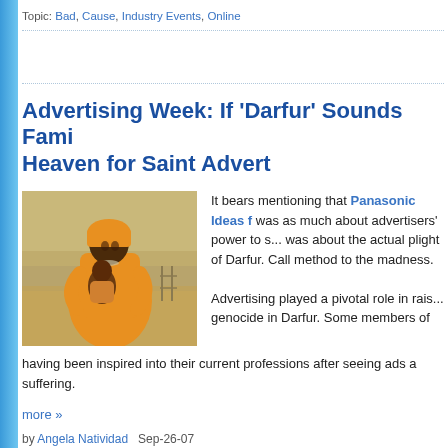Topic: Bad, Cause, Industry Events, Online
Advertising Week: If 'Darfur' Sounds Fami... Heaven for Saint Advert
[Figure (photo): A woman in yellow/orange clothing holding a young child, photographed in an arid outdoor setting related to Darfur.]
It bears mentioning that Panasonic Ideas f... was as much about advertisers' power to s... was about the actual plight of Darfur. Call... method to the madness.

Advertising played a pivotal role in rais... genocide in Darfur. Some members of... having been inspired into their current professions after seeing ads a... suffering.
more »
by Angela Natividad   Sep-26-07